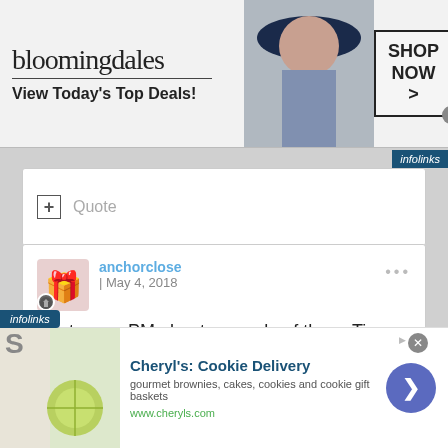[Figure (screenshot): Bloomingdales advertisement banner: logo text 'bloomingdales', tagline 'View Today's Top Deals!', woman in hat image, 'SHOP NOW >' button]
infolinks
+ Quote
anchorclose | May 4, 2018
Sent you a PM about a couple of those Tigers Jaw records
infolinks
[Figure (screenshot): Cheryl's Cookie Delivery advertisement: image of cookies/food, title 'Cheryl's: Cookie Delivery', subtitle 'gourmet brownies, cakes, cookies and cookie gift baskets', URL 'www.cheryls.com', blue circular arrow button]